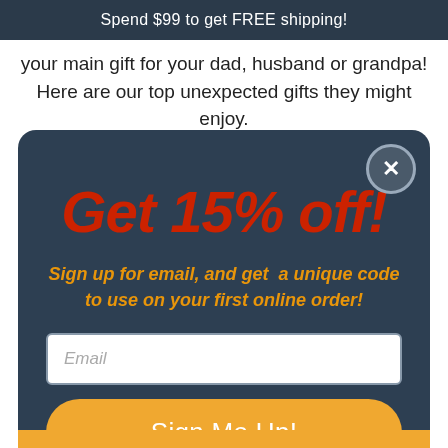Spend $99 to get FREE shipping!
your main gift for your dad, husband or grandpa! Here are our top unexpected gifts they might enjoy.
Get 15% off!
Sign up for email, and get  a unique code to use on your first online order!
Email
Sign Me Up!
* By completing this form you are signing up to receive our emails and can unsubscribe at any time.